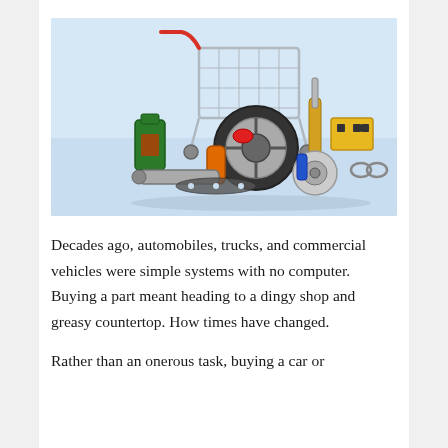[Figure (photo): A shopping cart with various automotive parts including a wheel/tire, brake disc, shock absorber, engine parts, oil cans, muffler/exhaust pipe, gasket, turbocharger, and a yellow box, arranged on a light blue background.]
Decades ago, automobiles, trucks, and commercial vehicles were simple systems with no computer. Buying a part meant heading to a dingy shop and greasy countertop. How times have changed.
Rather than an onerous task, buying a car or